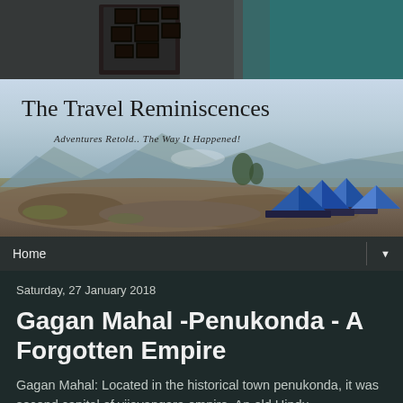[Figure (photo): Top decorative strip showing a dark interior with framed pictures on a weathered wall with teal/green tones]
[Figure (photo): Travel blog banner showing landscape with mountains in background and blue camping tents on rocky terrain, with blog title 'The Travel Reminiscences' and subtitle 'Adventures Retold.. The Way It Happened!']
Home ▼
Saturday, 27 January 2018
Gagan Mahal -Penukonda - A Forgotten Empire
Gagan Mahal: Located in the historical town penukonda, it was second capital of vijayangara empire. An old Hindu